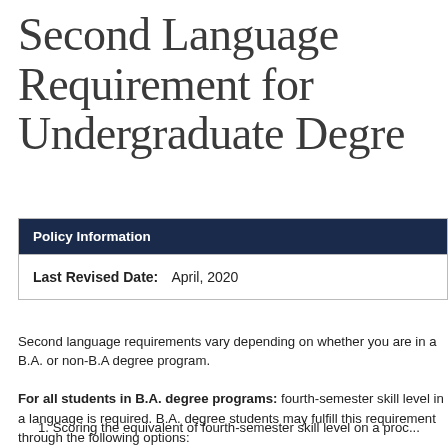Second Language Requirement for Undergraduate Degree
| Policy Information |
| --- |
| Last Revised Date: | April, 2020 |
Second language requirements vary depending on whether you are in a B.A. or non-B.A degree program.
For all students in B.A. degree programs: fourth-semester skill level in a language is required. B.A. degree students may fulfill this requirement through the following options:
1. Scoring the equivalent of fourth-semester skill level on a proct...